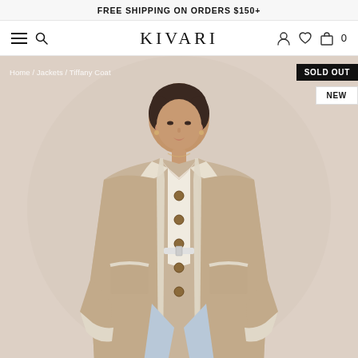FREE SHIPPING ON ORDERS $150+
KIVARI — navigation with menu, search, account, wishlist, cart (0)
Home / Jackets / Tiffany Coat
SOLD OUT
NEW
[Figure (photo): A woman wearing a beige shearling-style coat with cream sherpa trim, button front, fold-over collar, and patch pockets. She is wearing a cream top, light-wash jeans, and a white belt. The background is a warm beige/blush tone.]